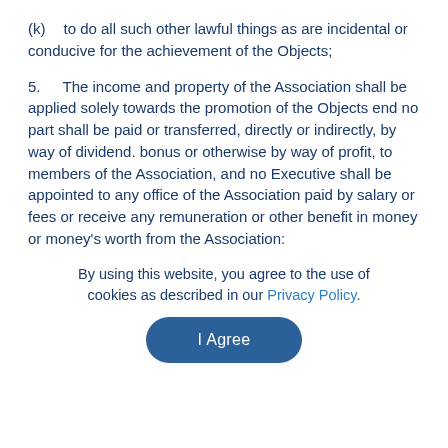(k)   to do all such other lawful things as are incidental or conducive for the achievement of the Objects;
5.   The income and property of the Association shall be applied solely towards the promotion of the Objects end no part shall be paid or transferred, directly or indirectly, by way of dividend. bonus or otherwise by way of profit, to members of the Association, and no Executive shall be appointed to any office of the Association paid by salary or fees or receive any remuneration or other benefit in money or money's worth from the Association:
By using this website, you agree to the use of cookies as described in our Privacy Policy.
I Agree